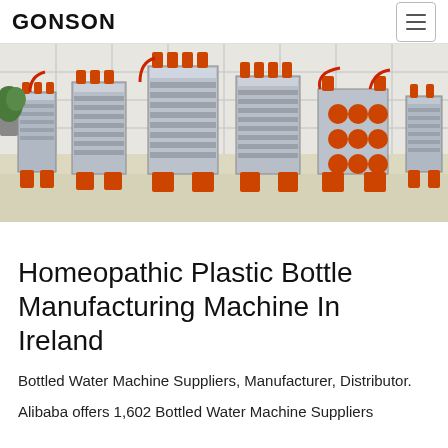GONSON
[Figure (photo): Industrial plastic bottle manufacturing machines (injection molds) displayed in a factory room. Multiple large metal molds with orange bases and fittings are shown side by side on a light-colored floor against a white tiled wall.]
Homeopathic Plastic Bottle Manufacturing Machine In Ireland
Bottled Water Machine Suppliers, Manufacturer, Distributor.
Alibaba offers 1,602 Bottled Water Machine Suppliers